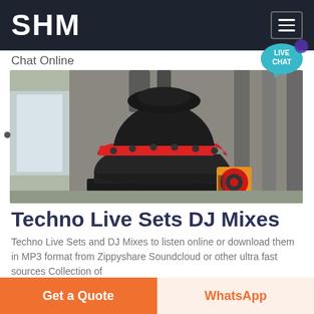SHM
Chat Online
[Figure (photo): Industrial cone crusher machine photographed in a factory setting. The machine is large, black with a red ring near the top, and yellow pulley components visible at the bottom right.]
Techno Live Sets DJ Mixes
Techno Live Sets and DJ Mixes to listen online or download them in MP3 format from Zippyshare Soundcloud or other ultra fast sources Collection of
Get a Quote
WhatsApp